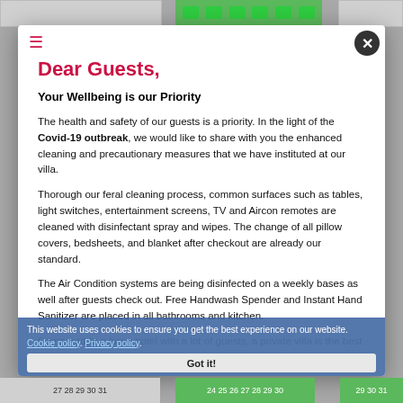Dear Guests,
Your Wellbeing is our Priority
The health and safety of our guests is a priority. In the light of the Covid-19 outbreak, we would like to share with you the enhanced cleaning and precautionary measures that we have instituted at our villa.
Thorough our feral cleaning process, common surfaces such as tables, light switches, entertainment screens, TV and Aircon remotes are cleaned with disinfectant spray and wipes. The change of all pillow covers, bedsheets, and blanket after checkout are already our standard.
The Air Condition systems are being disinfected on a weekly bases as well after guests check out. Free Handwash Spender and Instant Hand Sanitizer are placed in all bathrooms and kitchen.
Compared to a large hotel with a lot of guests, a private villa is the best alternative. To be clear we are not jumping
This website uses cookies to ensure you get the best experience on our website. Cookie policy. Privacy policy.
Got it!